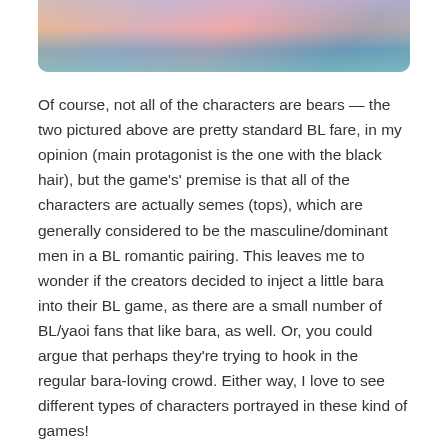[Figure (illustration): Cropped anime-style illustration showing two characters — one in yellow/beige and one with colorful hair/outfit in teal and pink tones — partially visible at the top of the page.]
Of course, not all of the characters are bears — the two pictured above are pretty standard BL fare, in my opinion (main protagonist is the one with the black hair), but the game's' premise is that all of the characters are actually semes (tops), which are generally considered to be the masculine/dominant men in a BL romantic pairing. This leaves me to wonder if the creators decided to inject a little bara into their BL game, as there are a small number of BL/yaoi fans that like bara, as well. Or, you could argue that perhaps they're trying to hook in the regular bara-loving crowd. Either way, I love to see different types of characters portrayed in these kind of games!